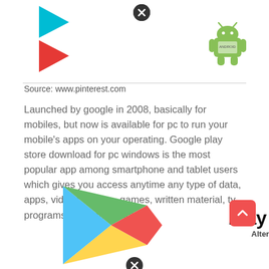[Figure (logo): Partial Google Play Store triangle logo (top portion cut off) and Android mascot with flag in top-right corner, with a close/X button circle overlay]
Source: www.pinterest.com
Launched by google in 2008, basically for mobiles, but now is available for pc to run your mobile’s apps on your operating. Google play store download for pc windows is the most popular app among smartphone and tablet users which gives you access anytime any type of data, apps, videos, audios, games, written material, tv programs, and much more.
[Figure (logo): Google Play Store full triangle logo (colorful: blue, green, yellow, red) with 'Play Store Alternatives' text and a scroll-to-top button]